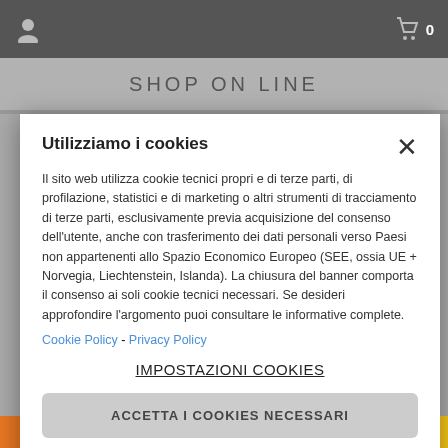[Figure (screenshot): Top navigation bar with user icon on left and shopping cart icon with 0 on right, dark gray background]
SHOP ON LINE
Utilizziamo i cookies
Il sito web utilizza cookie tecnici propri e di terze parti, di profilazione, statistici e di marketing o altri strumenti di tracciamento di terze parti, esclusivamente previa acquisizione del consenso dell'utente, anche con trasferimento dei dati personali verso Paesi non appartenenti allo Spazio Economico Europeo (SEE, ossia UE + Norvegia, Liechtenstein, Islanda). La chiusura del banner comporta il consenso ai soli cookie tecnici necessari. Se desideri approfondire l'argomento puoi consultare le informative complete.
Cookie Policy - Privacy Policy
IMPOSTAZIONI COOKIES
ACCETTA I COOKIES NECESSARI
ACCETTA TUTTI I COOKIES